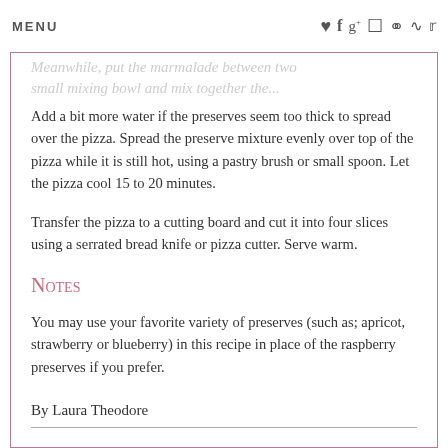MENU
Meanwhile, put the marmalade between two small mixing bowl and mix together the...
Add a bit more water if the preserves seem too thick to spread over the pizza. Spread the preserve mixture evenly over top of the pizza while it is still hot, using a pastry brush or small spoon. Let the pizza cool 15 to 20 minutes.
Transfer the pizza to a cutting board and cut it into four slices using a serrated bread knife or pizza cutter. Serve warm.
Notes
You may use your favorite variety of preserves (such as; apricot, strawberry or blueberry) in this recipe in place of the raspberry preserves if you prefer.
By Laura Theodore